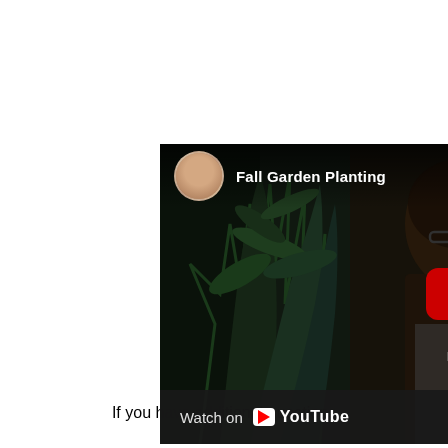[Figure (screenshot): YouTube video thumbnail for 'Fall Garden Planting' showing a woman with glasses in front of corn/plant background, with a red YouTube play button overlaid, and a 'Watch on YouTube' bar at the bottom.]
If you have additional questions